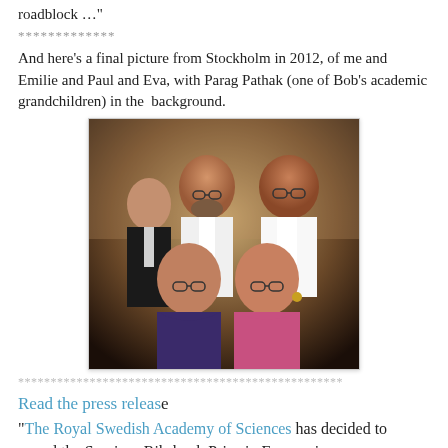roadblock …"
*************
And here's a final picture from Stockholm in 2012, of me and Emilie and Paul and Eva, with Parag Pathak (one of Bob's academic grandchildren) in the  background.
[Figure (photo): Group photo from Stockholm 2012 showing four people: two men in formal white tie attire standing in the back, and two women in front, with another person visible in the background.]
**************************************************
Read the press release
"The Royal Swedish Academy of Sciences has decided to award the Sveriges Riksbank Prize in Economic